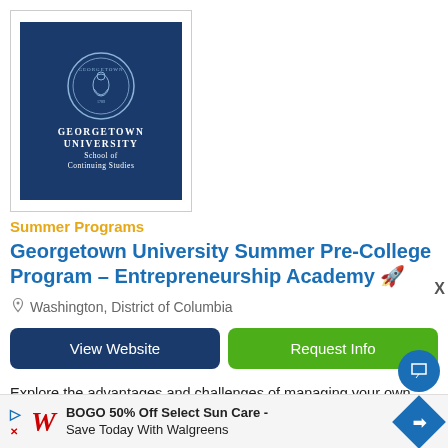[Figure (logo): Georgetown University School of Continuing Studies logo — dark navy blue background with circular seal and white text]
Summer Programs
Georgetown University Summer Pre-College Program – Entrepreneurship Academy 🚀
Washington, District of Columbia
View Website
Request Info
Explore the advantages and challenges of managing your own enterprise at Georgetown University's Entrepreneurship Academy. Our three-week program takes an in-depth look at ethical entrepreneurship, social responsibility ri…
[Figure (other): Walgreens advertisement banner: BOGO 50% Off Select Sun Care - Save Today With Walgreens]